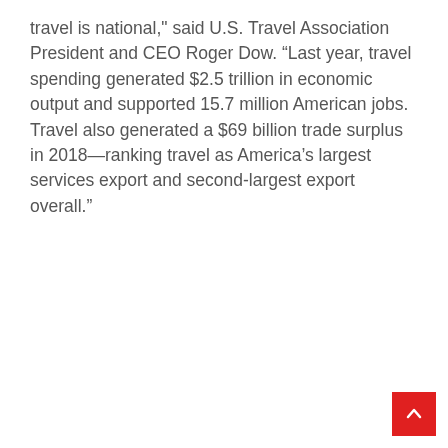travel is national," said U.S. Travel Association President and CEO Roger Dow. “Last year, travel spending generated $2.5 trillion in economic output and supported 15.7 million American jobs. Travel also generated a $69 billion trade surplus in 2018—ranking travel as America’s largest services export and second-largest export overall.”